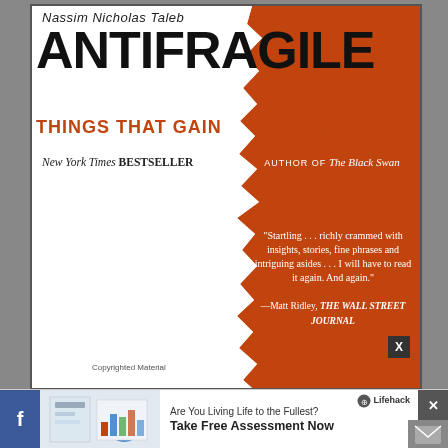[Figure (illustration): Book cover of 'Antifragile: Things That Gain from Disorder' by Nassim Nicholas Taleb. The cover is split diagonally with a torn-paper effect: white/black on the left side and orange on the right. Large bold title 'ANTIFRAGILE' in black, subtitle 'THINGS THAT GAIN FROM DISORDER' in orange, author name in italic at top. Orange side includes a quote from Matt Ridley of The Wall Street Journal praising the book.]
Are You Living Life to the Fullest? Take Free Assessment Now — Lifehack (advertisement banner)